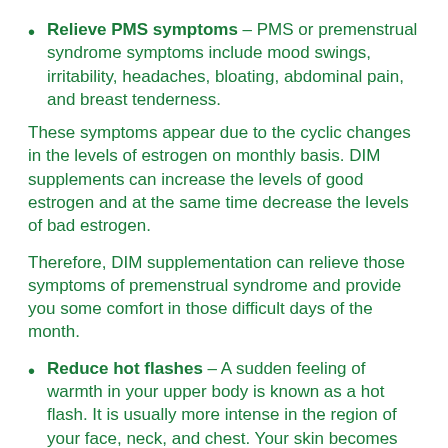Relieve PMS symptoms – PMS or premenstrual syndrome symptoms include mood swings, irritability, headaches, bloating, abdominal pain, and breast tenderness.
These symptoms appear due to the cyclic changes in the levels of estrogen on monthly basis. DIM supplements can increase the levels of good estrogen and at the same time decrease the levels of bad estrogen.
Therefore, DIM supplementation can relieve those symptoms of premenstrual syndrome and provide you some comfort in those difficult days of the month.
Reduce hot flashes – A sudden feeling of warmth in your upper body is known as a hot flash. It is usually more intense in the region of your face, neck, and chest. Your skin becomes